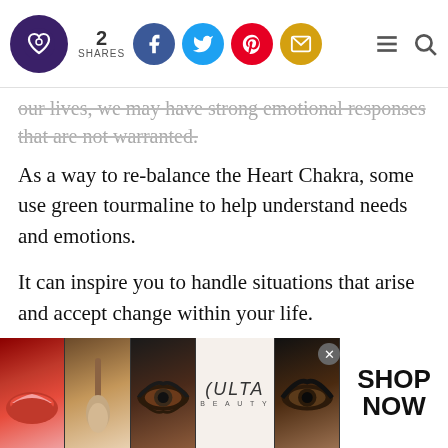2 SHARES [Facebook, Twitter, Pinterest, Email social share buttons] [Menu] [Search]
...our lives, we may have strong emotional responses that are not warranted.
As a way to re-balance the Heart Chakra, some use green tourmaline to help understand needs and emotions.
It can inspire you to handle situations that arise and accept change within your life.
There are other ways that this crystal can be used for emotional development.
[Figure (illustration): Advertisement banner for Ulta Beauty showing makeup images (lips with lipstick, makeup brush, eye with dramatic makeup, Ulta Beauty logo, another eye with dramatic makeup) with 'SHOP NOW' call to action button]